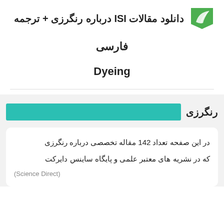[Figure (logo): Green leaf/flag logo in top right corner]
دانلود مقالات ISI درباره رنگرزی + ترجمه فارسی
فارسی
Dyeing
رنگرزی
در این صفحه تعداد 142 مقاله تخصصی درباره رنگرزی که در نشریه های معتبر علمی و پایگاه ساینس دایرکت (Science Direct)